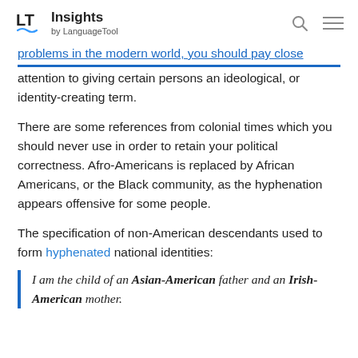Insights by LanguageTool
problems in the modern world, you should pay close attention to giving certain persons an ideological, or identity-creating term.
There are some references from colonial times which you should never use in order to retain your political correctness. Afro-Americans is replaced by African Americans, or the Black community, as the hyphenation appears offensive for some people.
The specification of non-American descendants used to form hyphenated national identities:
I am the child of an Asian-American father and an Irish-American mother.